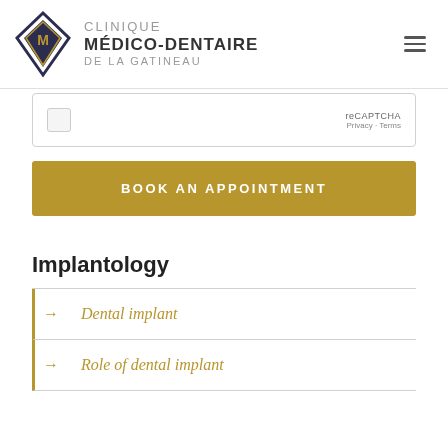[Figure (logo): Clinique Médico-Dentaire de la Gatineau logo with diamond shape and text]
[Figure (screenshot): reCAPTCHA widget with Privacy and Terms links]
BOOK AN APPOINTMENT
Implantology
Dental implant
Role of dental implant